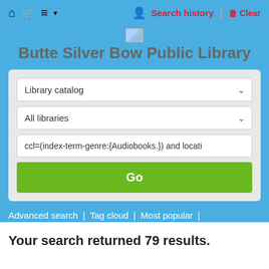Home | Cart | List | User | Search history | Clear
Butte Silver Bow Public Library
[Figure (screenshot): Library catalog search widget with two dropdowns (Library catalog, All libraries), a search input field pre-filled with 'ccl=(index-term-genre:{Audiobooks.}) and locati', and a green Go button]
Advanced search | Tag cloud | Most popular | Libraries
Your search returned 79 results.